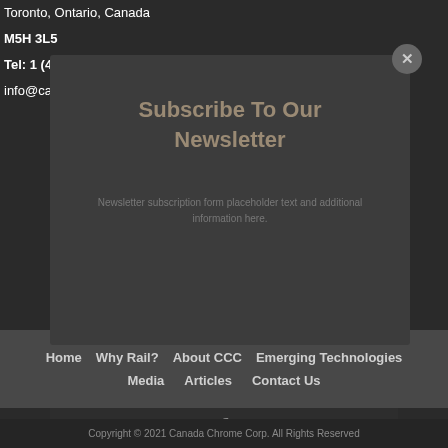Toronto, Ontario, Canada
M5H 3L5
Tel: 1 (416) 642-3575
info@canadachromecorp.com
Subscribe To Our Newsletter
Newsletter subscription form placeholder text
Home   Why Rail?   About CCC   Emerging Technologies   Media   Articles   Contact Us
[Figure (logo): Facebook icon f in grey]
Copyright © 2021 Canada Chrome Corp. All Rights Reserved